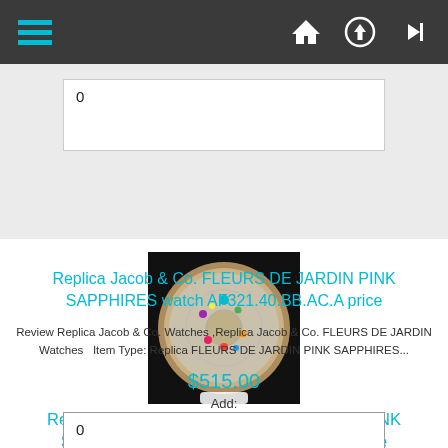Navigation bar with hamburger menu and icons
0
[Figure (photo): Replica Jacob & Co. watch face with colorful floral jewels on dark background, circular bezel with white strap visible]
Replica Jacob & Co. FLEURS DE JARDIN PINK SAPPHIRES watch AF321.40.BB.AC.A price
Review Replica Jacob & Co. Watches ,Replica Jacob & Co. FLEURS DE JARDIN Watches   Item Type: Replica FLEURS DE JARDIN PINK SAPPHIRES...
$515.00
Add:
0